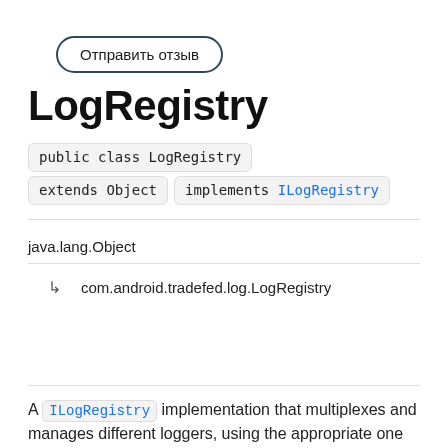Отправить отзыв
LogRegistry
public class LogRegistry extends Object implements ILogRegistry
java.lang.Object
↳ com.android.tradefed.log.LogRegistry
A ILogRegistry implementation that multiplexes and manages different loggers, using the appropriate one